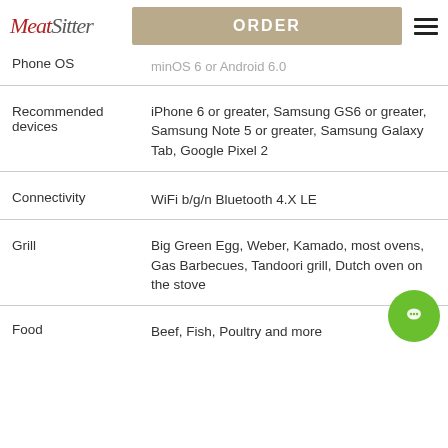MeatSitter — ORDER
| Feature | Value |
| --- | --- |
| Phone OS | minOS 6 or Android 6.0 |
| Recommended devices | iPhone 6 or greater, Samsung GS6 or greater, Samsung Note 5 or greater, Samsung Galaxy Tab, Google Pixel 2 |
| Connectivity | WiFi b/g/n Bluetooth 4.X LE |
| Grill | Big Green Egg, Weber, Kamado, most ovens, Gas Barbecues, Tandoori grill, Dutch oven on the stove |
| Food | Beef, Fish, Poultry and more |